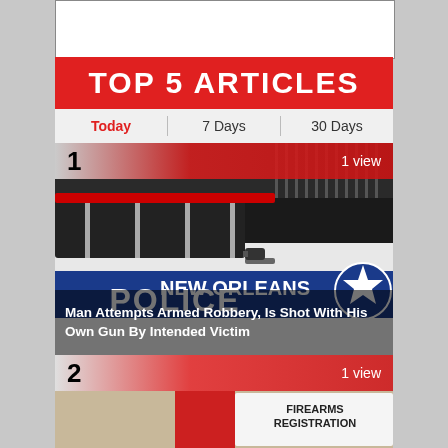[Figure (screenshot): White empty box at top of page]
TOP 5 ARTICLES
Today   7 Days   30 Days
[Figure (photo): Article #1 ranked item. Shows a New Orleans Police car with text overlay reading '1' and '1 view', with caption: Man Attempts Armed Robbery, Is Shot With His Own Gun By Intended Victim]
Man Attempts Armed Robbery, Is Shot With His Own Gun By Intended Victim
[Figure (photo): Article #2 ranked item. Shows a partial image with 'FIREARMS REGISTRATION' text visible. Rank '2' and '1 view' shown.]